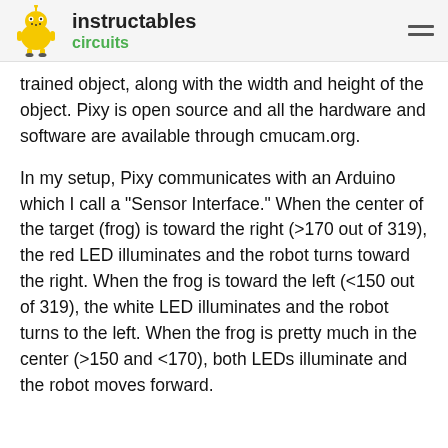instructables circuits
trained object, along with the width and height of the object. Pixy is open source and all the hardware and software are available through cmucam.org.
In my setup, Pixy communicates with an Arduino which I call a "Sensor Interface." When the center of the target (frog) is toward the right (>170 out of 319), the red LED illuminates and the robot turns toward the right. When the frog is toward the left (<150 out of 319), the white LED illuminates and the robot turns to the left. When the frog is pretty much in the center (>150 and <170), both LEDs illuminate and the robot moves forward.